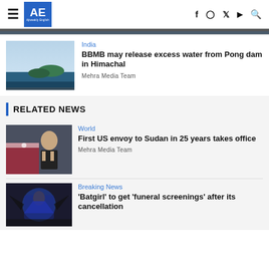AE Ajiweekly English
[Figure (photo): Partial top of a news article image (cut off at top)]
India
BBMB may release excess water from Pong dam in Himachal
Mehra Media Team
RELATED NEWS
World
First US envoy to Sudan in 25 years takes office
Mehra Media Team
Breaking News
'Batgirl' to get 'funeral screenings' after its cancellation